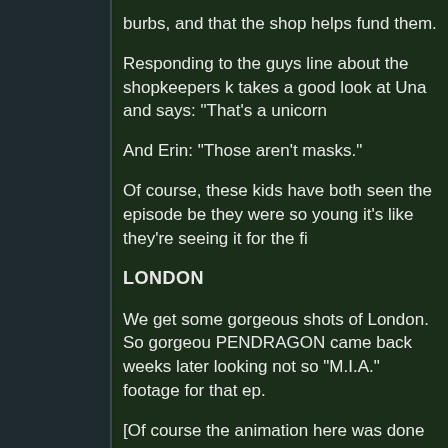burbs, and that the shop helps fund them.
Responding to the guys line about the shopkeepers k... takes a good look at Una and says: "That's a unicorn...
And Erin: "Those aren't masks."
Of course, these kids have both seen the episode be... they were so young it's like they're seeing it for the fi...
LONDON
We get some gorgeous shots of London. So gorgeou... PENDRAGON came back weeks later looking not so... "M.I.A." footage for that ep.
[Of course the animation here was done by Walt Dis... GARG's Best studio. It still kills me that Disney has s... great stuff.]
Elisa talks to the Cabbie. In my mind, this Cabbie ap... a little boy, running downstairs and into a bomb shelt... but that's how I saw it.
And we explain (include) another legend. That of Gre...